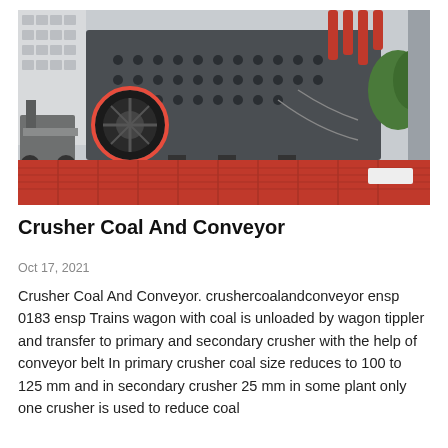[Figure (photo): Large industrial coal crusher machine mounted on a red flatbed transport vehicle. The machine is dark grey/black with multiple holes and components visible. A red circle highlights a wheel/drum component on the left side. Red hydraulic or mechanical cylinders are visible on top right. A forklift is partially visible on the far left and green foliage on the right background.]
Crusher Coal And Conveyor
Oct 17, 2021
Crusher Coal And Conveyor. crushercoalandconveyor ensp 0183 ensp Trains wagon with coal is unloaded by wagon tippler and transfer to primary and secondary crusher with the help of conveyor belt In primary crusher coal size reduces to 100 to 125 mm and in secondary crusher 25 mm in some plant only one crusher is used to reduce coal